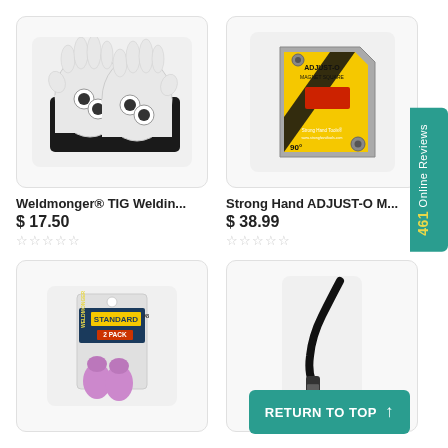[Figure (photo): Weldmonger TIG welding gloves - white leather gloves with black cuff]
[Figure (photo): Strong Hand ADJUST-O Magnet Square - yellow triangular magnetic welding square tool]
Weldmonger® TIG Weldin...
$ 17.50
☆☆☆☆☆
Strong Hand ADJUST-O M...
$ 38.99
☆☆☆☆☆
[Figure (photo): Weldmonger Standard 2-pack consumables/cups pink/purple]
[Figure (photo): TIG welding torch with pink/purple ceramic cup]
461 Online Reviews
RETURN TO TOP ↑